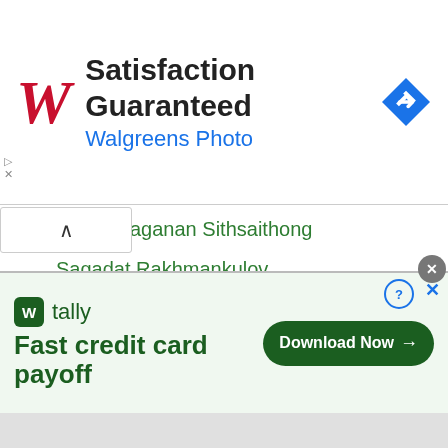[Figure (advertisement): Walgreens Photo ad banner: red cursive W logo, 'Satisfaction Guaranteed' headline, 'Walgreens Photo' subtitle in blue, blue diamond navigation icon on right]
aganan Sithsaithong
Sagadat Rakhmankulov
Saitama Super Arena
Saken Pulatov
Salatiel Amit
Samartlek Kokietgym
Samart Payakaroon
Sampson Boxing
Samson Dutch Boy Gym
Samson Tor Buamas
Samuel Salva
[Figure (advertisement): Tally app ad: green tally icon, 'tally' brand name, 'Fast credit card payoff' tagline, green 'Download Now →' button, infolinks badge]